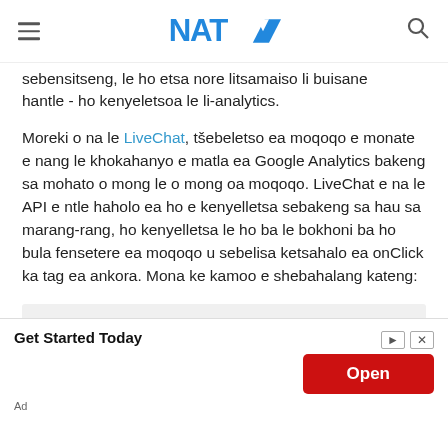NAT (logo)
sebensitseng, le ho etsa nore litsamaiso li buisane hantle - ho kenyeletsoa le li-analytics.
Moreki o na le LiveChat, tšebeletso ea moqoqo e monate e nang le khokahanyo e matla ea Google Analytics bakeng sa mohato o mong le o mong oa moqoqo. LiveChat e na le API e ntle haholo ea ho e kenyelletsa sebakeng sa hau sa marang-rang, ho kenyelletsa le ho ba le bokhoni ba ho bula fensetere ea moqoqo u sebelisa ketsahalo ea onClick ka tag ea ankora. Mona ke kamoo e shebahalang kateng:
<a href="#" onclick="parent.LC_API.open_chat_window();return false;">Chat Now!</a>
Sara ea thuso beha u na le bokhoni ba ho hlophisa